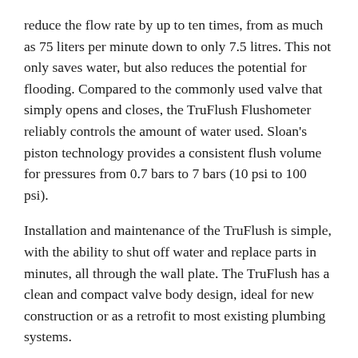reduce the flow rate by up to ten times, from as much as 75 liters per minute down to only 7.5 litres. This not only saves water, but also reduces the potential for flooding. Compared to the commonly used valve that simply opens and closes, the TruFlush Flushometer reliably controls the amount of water used. Sloan's piston technology provides a consistent flush volume for pressures from 0.7 bars to 7 bars (10 psi to 100 psi).
Installation and maintenance of the TruFlush is simple, with the ability to shut off water and replace parts in minutes, all through the wall plate. The TruFlush has a clean and compact valve body design, ideal for new construction or as a retrofit to most existing plumbing systems.
The TruFlush Flushometer was designed with as few parts as possible, making maintenance a breeze. The parts are easily accessible through the wall plate and are designed to minimise the opportunity for leaking and worry.